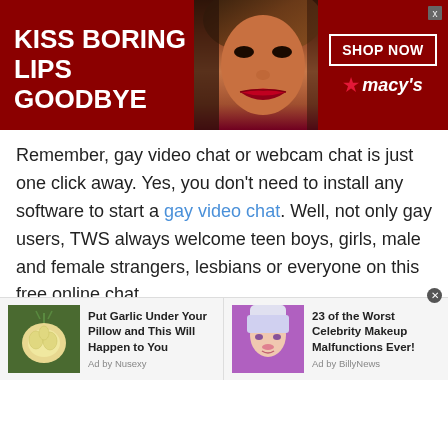[Figure (photo): Macy's advertisement banner: dark red background with 'KISS BORING LIPS GOODBYE' text on left, woman's face with red lips in center, 'SHOP NOW' button and Macy's star logo on right]
Remember, gay video chat or webcam chat is just one click away. Yes, you don't need to install any software to start a gay video chat. Well, not only gay users, TWS always welcome teen boys, girls, male and female strangers, lesbians or everyone on this free online chat.
Well, there are so many video chat apps available across the internet. However, we suggest you all, not to go with video chat apps that are simply a
[Figure (infographic): Bottom advertisement strip with two ads: 1) 'Put Garlic Under Your Pillow and This Will Happen to You' - Ad by Nusexy, with garlic image. 2) '23 of the Worst Celebrity Makeup Malfunctions Ever!' - Ad by BillyNews, with blonde woman image.]